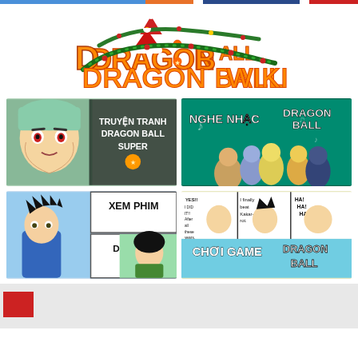[Figure (logo): Dragon Ball Wiki logo with Christmas hat and decorations, orange stylized text]
[Figure (illustration): Truyện Tranh Dragon Ball Super banner - anime character on left, white text overlay on right]
[Figure (illustration): Nghe Nhạc Dragon Ball banner - teal background with chibi characters, white bold text]
[Figure (illustration): Xem Phim Dragon Ball banner - anime character on left, white box labels on right]
[Figure (illustration): Chơi Game Dragon Ball banner - manga comic strip top, blue overlay text bottom]